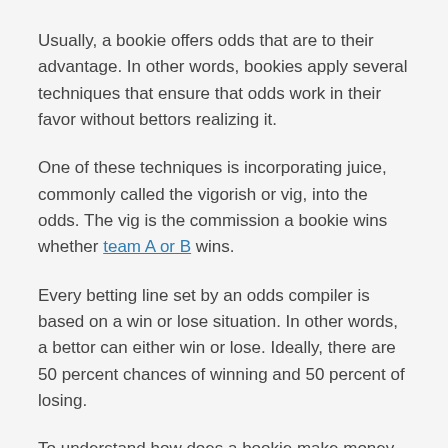Usually, a bookie offers odds that are to their advantage. In other words, bookies apply several techniques that ensure that odds work in their favor without bettors realizing it.
One of these techniques is incorporating juice, commonly called the vigorish or vig, into the odds. The vig is the commission a bookie wins whether team A or B wins.
Every betting line set by an odds compiler is based on a win or lose situation. In other words, a bettor can either win or lose. Ideally, there are 50 percent chances of winning and 50 percent of losing.
To understand how does a bookie make money by setting odds; you need to learn how an odds compiler works. A bookie employs an odds compiler to put together odds of all events. These odds are a guideline of what a bookie might earn from every game.